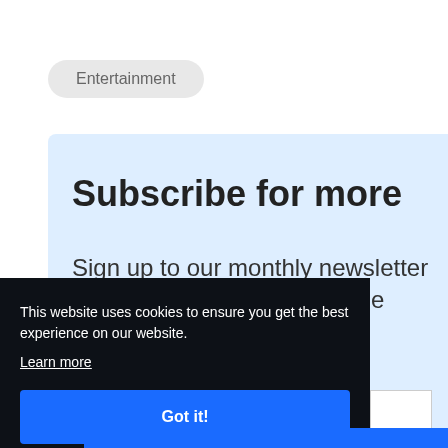Entertainment
Subscribe for more
Sign up to our monthly newsletter and be kept up to date on the latest
This website uses cookies to ensure you get the best experience on our website.
Learn more
Got it!